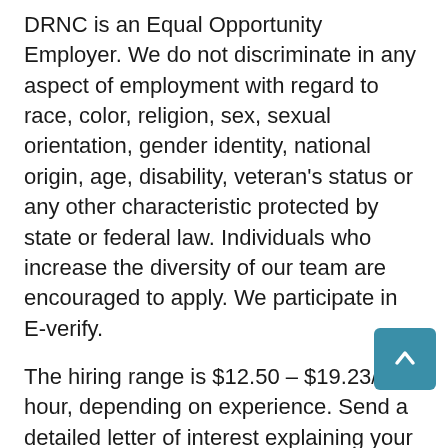DRNC is an Equal Opportunity Employer. We do not discriminate in any aspect of employment with regard to race, color, religion, sex, sexual orientation, gender identity, national origin, age, disability, veteran's status or any other characteristic protected by state or federal law. Individuals who increase the diversity of our team are encouraged to apply. We participate in E-verify.
The hiring range is $12.50 – $19.23/ per hour, depending on experience. Send a detailed letter of interest explaining your qualifications and interest in the position, resume, and writing sample of no more than five pages to: resumes.hr@disabilityrightsnc.org. Include Administrative Assistant (Part-time/Temporary) in the subject line the email. No phone calls please.
Closing Date:  Position will remain open until filled.